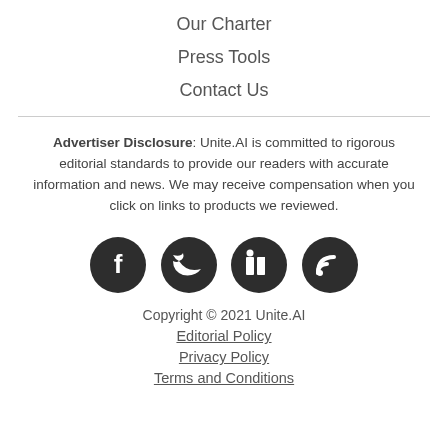Our Charter
Press Tools
Contact Us
Advertiser Disclosure: Unite.AI is committed to rigorous editorial standards to provide our readers with accurate information and news. We may receive compensation when you click on links to products we reviewed.
[Figure (other): Four dark circular social media icons: Facebook, Twitter, LinkedIn, RSS feed]
Copyright © 2021 Unite.AI
Editorial Policy
Privacy Policy
Terms and Conditions